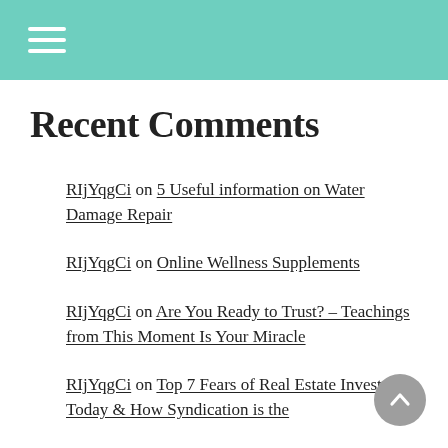☰ (hamburger menu icon)
Recent Comments
RIjYqgCi on 5 Useful information on Water Damage Repair
RIjYqgCi on Online Wellness Supplements
RIjYqgCi on Are You Ready to Trust? – Teachings from This Moment Is Your Miracle
RIjYqgCi on Top 7 Fears of Real Estate Investors Today & How Syndication is the